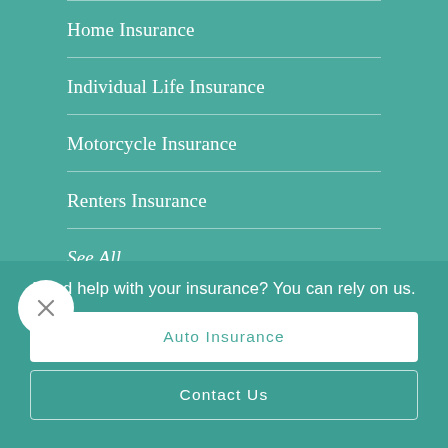Home Insurance
Individual Life Insurance
Motorcycle Insurance
Renters Insurance
See All
Business Insurance
Need help with your insurance? You can rely on us.
Auto Insurance
Contact Us